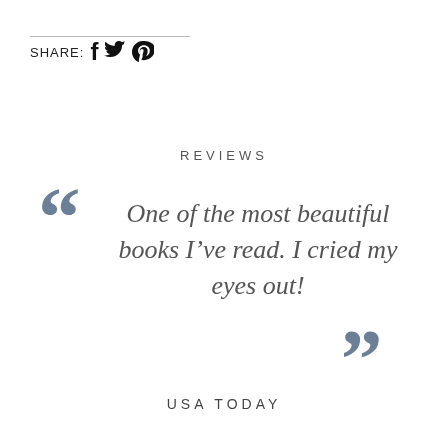SHARE: f [twitter] [pinterest]
REVIEWS
One of the most beautiful books I've read. I cried my eyes out!
USA TODAY